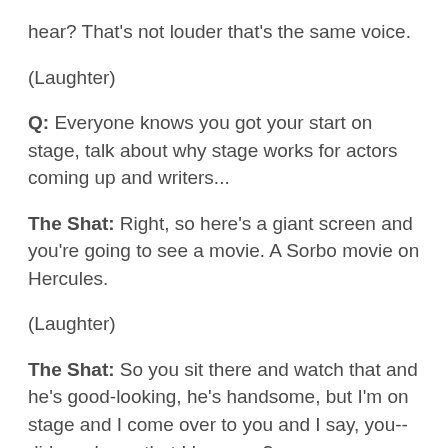hear? That's not louder that's the same voice.
(Laughter)
Q: Everyone knows you got your start on stage, talk about why stage works for actors coming up and writers...
The Shat: Right, so here's a giant screen and you're going to see a movie. A Sorbo movie on Hercules.
(Laughter)
The Shat: So you sit there and watch that and he's good-looking, he's handsome, but I'm on stage and I come over to you and I say, you--did you know that I love you?